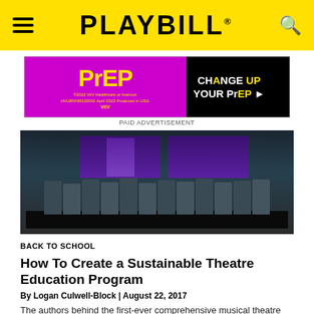PLAYBILL
[Figure (photo): Advertisement for PrEP medication by ViiV Healthcare with text 'CHANGE UP YOUR PrEP'. Pink/magenta and black design. PAID ADVERTISEMENT label below.]
PAID ADVERTISEMENT
[Figure (photo): Group photo of approximately 12 people sitting behind a long table with black tablecloth, each holding white star-shaped awards. Purple banners with musical theatre artwork are in the background.]
BACK TO SCHOOL
How To Create a Sustainable Theatre Education Program
By Logan Culwell-Block | August 22, 2017
The authors behind the first-ever comprehensive musical theatre educators' textbook reveal insights about arts education.